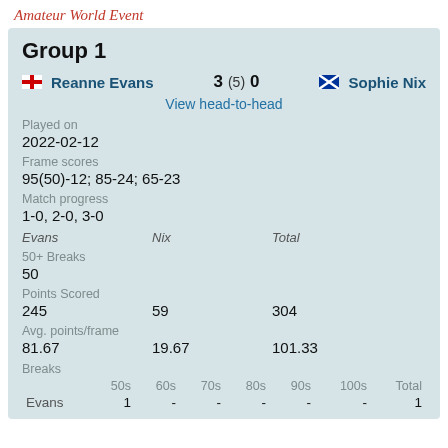Amateur World Event
Group 1
Reanne Evans 3 (5) 0 Sophie Nix
View head-to-head
Played on
2022-02-12
Frame scores
95(50)-12; 85-24; 65-23
Match progress
1-0, 2-0, 3-0
Evans	Nix	Total
50+ Breaks
50
Points Scored
245	59	304
Avg. points/frame
81.67	19.67	101.33
Breaks
|  | 50s | 60s | 70s | 80s | 90s | 100s | Total |
| --- | --- | --- | --- | --- | --- | --- | --- |
| Evans | 1 | - | - | - | - | - | 1 |